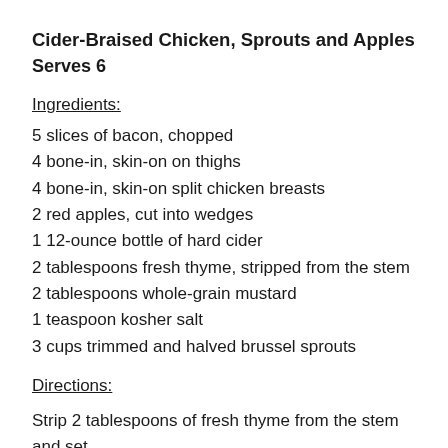Cider-Braised Chicken, Sprouts and Apples
Serves 6
Ingredients:
5 slices of bacon, chopped
4 bone-in, skin-on on thighs
4 bone-in, skin-on split chicken breasts
2 red apples, cut into wedges
1 12-ounce bottle of hard cider
2 tablespoons fresh thyme, stripped from the stem
2 tablespoons whole-grain mustard
1 teaspoon kosher salt
3 cups trimmed and halved brussel sprouts
Directions:
Strip 2 tablespoons of fresh thyme from the stem and set